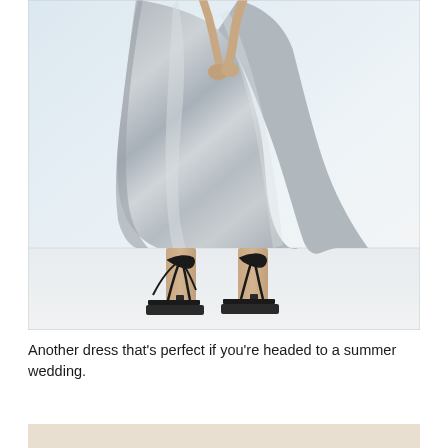[Figure (photo): A woman wearing a silver/grey satin slip dress with asymmetric hemline, paired with black strappy kitten heel sandals with ankle ties. The photo is cropped to show from mid-torso down to feet against a light blue-white background. The model is holding the skirt fabric slightly.]
Another dress that's perfect if you're headed to a summer wedding.